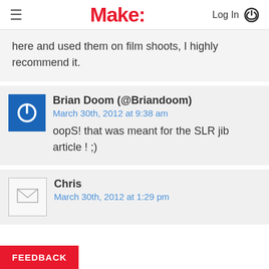Make: Log In [search icon]
here and used them on film shoots, I highly recommend it.
Brian Doom (@Briandoom)
March 30th, 2012 at 9:38 am

oopS! that was meant for the SLR jib article ! ;)
Chris
March 30th, 2012 at 1:29 pm